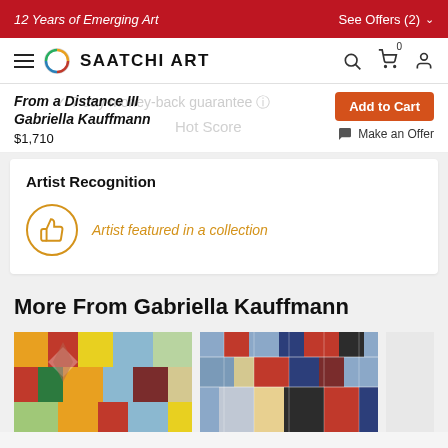12 Years of Emerging Art | See Offers (2)
[Figure (logo): Saatchi Art logo with navigation bar including hamburger menu, circular multicolor logo, SAATCHI ART text, search icon, cart icon, and user icon]
From a Distance III
Gabriella Kauffmann
$1,710
Add to Cart
Make an Offer
Artist Recognition
Artist featured in a collection
More From Gabriella Kauffmann
[Figure (photo): Colorful abstract painting with geometric shapes in orange, red, yellow, blue, and green]
[Figure (photo): Colorful abstract painting with rectangular grid shapes in blue, red, black, and yellow]